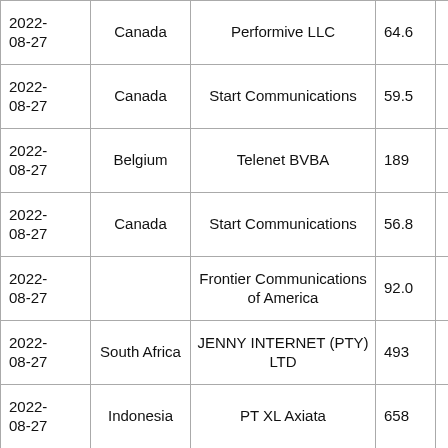| Date | Country | Provider | Value |  |
| --- | --- | --- | --- | --- |
| 2022-08-27 | Canada | Performive LLC | 64.6 |  |
| 2022-08-27 | Canada | Start Communications | 59.5 |  |
| 2022-08-27 | Belgium | Telenet BVBA | 189 |  |
| 2022-08-27 | Canada | Start Communications | 56.8 |  |
| 2022-08-27 |  | Frontier Communications of America | 92.0 |  |
| 2022-08-27 | South Africa | JENNY INTERNET (PTY) LTD | 493 |  |
| 2022-08-27 | Indonesia | PT XL Axiata | 658 |  |